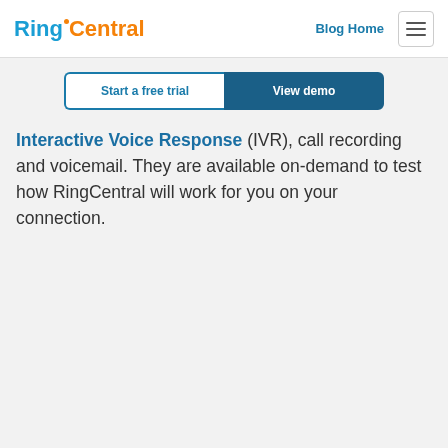RingCentral | Blog Home
Start a free trial | View demo
Interactive Voice Response (IVR), call recording and voicemail. They are available on-demand to test how RingCentral will work for you on your connection.